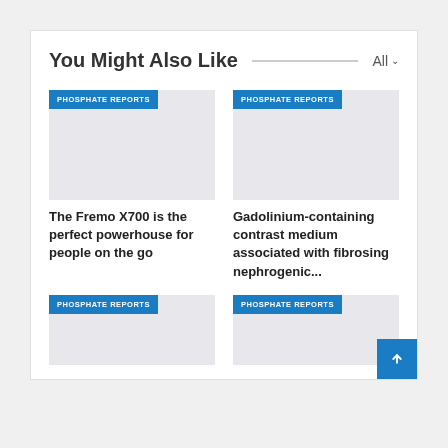You Might Also Like
[Figure (screenshot): Card image placeholder with PHOSPHATE REPORTS badge - top left card]
The Fremo X700 is the perfect powerhouse for people on the go
[Figure (screenshot): Card image placeholder with PHOSPHATE REPORTS badge - top right card]
Gadolinium-containing contrast medium associated with fibrosing nephrogenic...
[Figure (screenshot): Card image placeholder with PHOSPHATE REPORTS badge - bottom left card]
[Figure (screenshot): Card image placeholder with PHOSPHATE REPORTS badge - bottom right card]